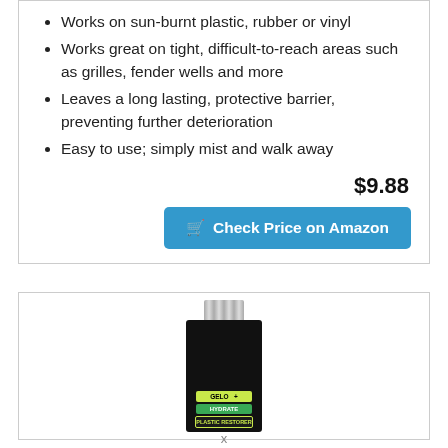Works on sun-burnt plastic, rubber or vinyl
Works great on tight, difficult-to-reach areas such as grilles, fender wells and more
Leaves a long lasting, protective barrier, preventing further deterioration
Easy to use; simply mist and walk away
$9.88
Check Price on Amazon
[Figure (photo): A small dark bottle of plastic restorer product with a silver cap and green/yellow label]